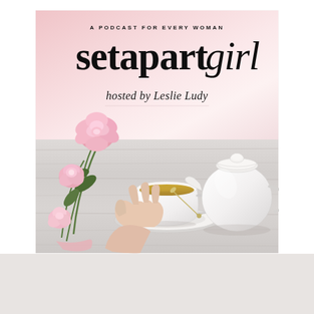[Figure (illustration): Podcast cover art for 'setapartgirl' hosted by Leslie Ludy. Shows a pink floral/watercolor background at top, with text overlay reading 'A PODCAST FOR EVERY WOMAN' in small caps, 'setapartgirl' in large serif font (girl in italic), and 'hosted by Leslie Ludy' in italic script. Bottom half shows a photographic scene: pink peonies and ranunculus flowers on the left, a white teacup with tea on a saucer being held by a hand in the center, and a white teapot on the right, all on a white wooden table surface.]